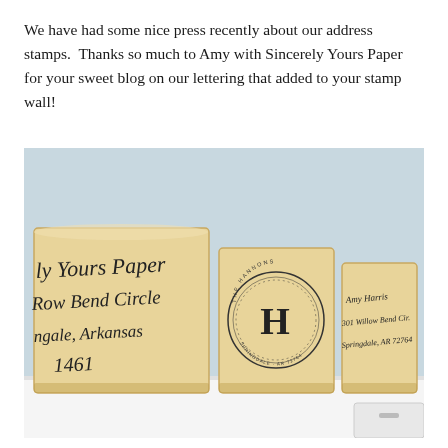We have had some nice press recently about our address stamps.  Thanks so much to Amy with Sincerely Yours Paper for your sweet blog on our lettering that added to your stamp wall!
[Figure (photo): A photograph of three wooden rubber address stamps displayed on a white shelf. The left stamp shows cursive lettering with 'ly Yours Paper', 'Row Bend Circle', 'ngale, Arkansas', '1461'. The middle stamp shows a circular monogram design with a large block-letter 'H' in the center and text around the border reading 'THE HANNONS' and 'SPRINGDALE, AR 72764 WILLOW BEND CIRCLE'. The right stamp shows a cursive address stamp.]